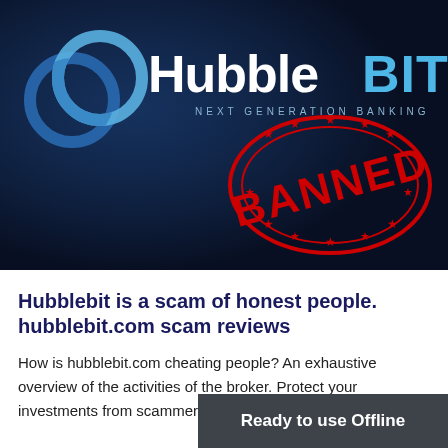[Figure (illustration): HubbleBIT logo (blue interlocking rings on left, white 'Hubble' and blue 'BIT' text, 'NEXT GENERATION BANKING' subtitle) on a dark navy background, with a red oval 'BANNED' stamp overlaid on the right side featuring stars and a bold BANNED text.]
Hubblebit is a scam of honest people. hubblebit.com scam reviews
How is hubblebit.com cheating people? An exhaustive overview of the activities of the broker. Protect your investments from scammers!
Ready to use Offline